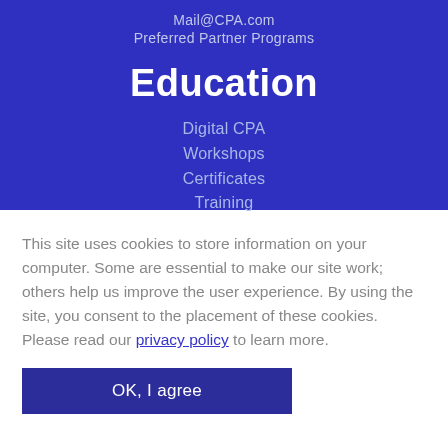Mail@CPA.com
Preferred Partner Programs
Education
Digital CPA
Workshops
Certificates
Training
This site uses cookies to store information on your computer. Some are essential to make our site work; others help us improve the user experience. By using the site, you consent to the placement of these cookies. Please read our privacy policy to learn more.
OK, I agree